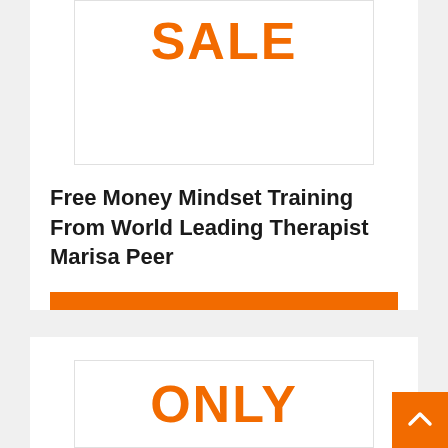[Figure (other): Orange SALE text inside a bordered image box]
Free Money Mindset Training From World Leading Therapist Marisa Peer
[Figure (other): Orange GET DEAL button]
[Figure (other): Orange ONLY text inside a bordered image box at the bottom of a second card]
[Figure (other): Orange scroll-to-top arrow button in bottom right corner]